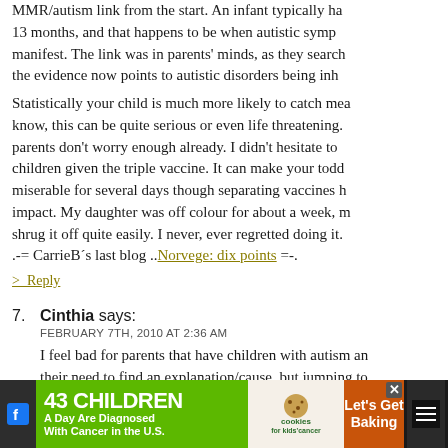MMR/autism link from the start. An infant typically has their first MMR at 13 months, and that happens to be when autistic symptoms often first manifest. The link was in parents' minds, as they search for answers, but the evidence now points to autistic disorders being inherited. Statistically your child is much more likely to catch measles, which as you know, this can be quite serious or even life threatening. I feel, as if parents don't worry enough already. I didn't hesitate to have all my children given the triple vaccine. It can make your toddler quite miserable for several days though separating vaccines has more impact. My daughter was off colour for about a week, my son seemed to shrug it off quite easily. I never, ever regretted doing it. .-= CarrieB´s last blog ..Norvege: dix points =-.
> Reply
7. Cinthia says:
FEBRUARY 7TH, 2010 AT 2:36 AM
I feel bad for parents that have children with autism and their need to find an explanation/cause, but jumping to...
[Figure (infographic): Advertisement banner: '43 CHILDREN A Day Are Diagnosed With Cancer in the U.S.' with cookies for kids' cancer logo and 'Let's Get Baking' call to action]